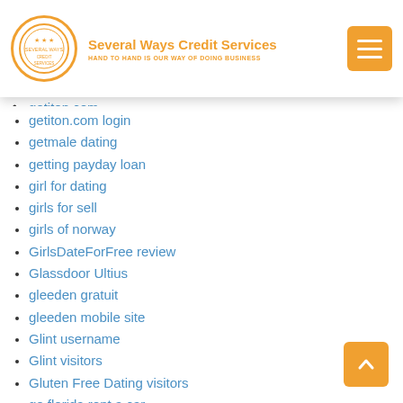Several Ways Credit Services — HAND TO HAND IS OUR WAY OF DOING BUSINESS
getiton.com login
getmale dating
getting payday loan
girl for dating
girls for sell
girls of norway
GirlsDateForFree review
Glassdoor Ultius
gleeden gratuit
gleeden mobile site
Glint username
Glint visitors
Gluten Free Dating visitors
go florida rent a car
Going Here
golden valley loans
Good Grief reviews
good payday loans
Granny Hot Video